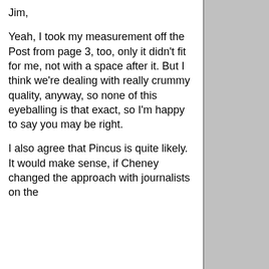Jim,
Yeah, I took my measurement off the Post from page 3, too, only it didn't fit for me, not with a space after it. But I think we're dealing with really crummy quality, anyway, so none of this eyeballing is that exact, so I'm happy to say you may be right.
I also agree that Pincus is quite likely. It would make sense, if Cheney changed the approach with journalists on the